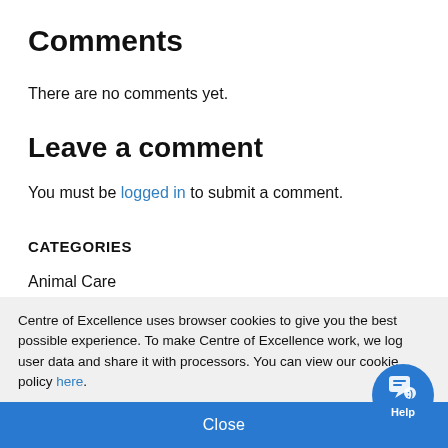Comments
There are no comments yet.
Leave a comment
You must be logged in to submit a comment.
CATEGORIES
Animal Care
Centre of Excellence uses browser cookies to give you the best possible experience. To make Centre of Excellence work, we log user data and share it with processors. You can view our cookie policy here.
Close